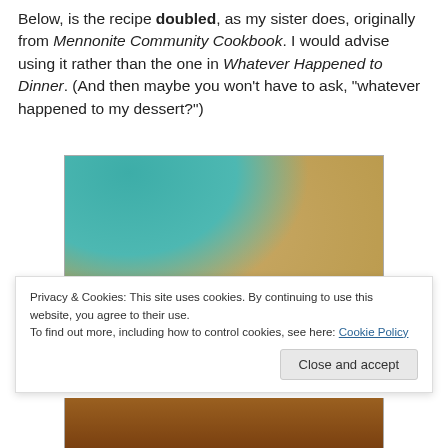Below, is the recipe doubled, as my sister does, originally from Mennonite Community Cookbook. I would advise using it rather than the one in Whatever Happened to Dinner. (And then maybe you won't have to ask, "whatever happened to my dessert?")
[Figure (photo): Photo of baked goods (cookies or bars) on a white plate against a granite countertop background, partially visible]
Privacy & Cookies: This site uses cookies. By continuing to use this website, you agree to their use.
To find out more, including how to control cookies, see here: Cookie Policy